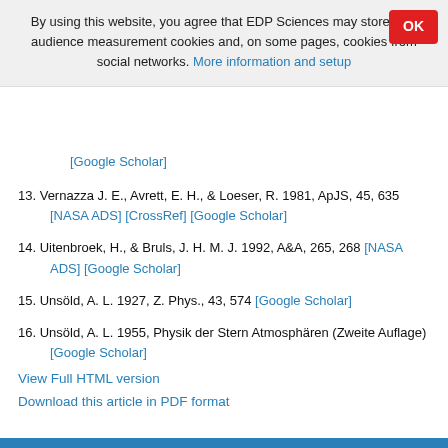By using this website, you agree that EDP Sciences may store web audience measurement cookies and, on some pages, cookies from social networks. More information and setup
[Google Scholar]
13. Vernazza J. E., Avrett, E. H., & Loeser, R. 1981, ApJS, 45, 635 [NASA ADS] [CrossRef] [Google Scholar]
14. Uitenbroek, H., & Bruls, J. H. M. J. 1992, A&A, 265, 268 [NASA ADS] [Google Scholar]
15. Unsöld, A. L. 1927, Z. Phys., 43, 574 [Google Scholar]
16. Unsöld, A. L. 1955, Physik der Stern Atmosphären (Zweite Auflage) [Google Scholar]
View Full HTML version
Download this article in PDF format